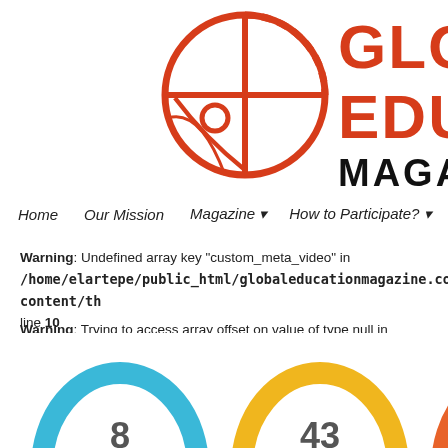[Figure (logo): Global Education Magazine logo: red circular icon with cross and globe design, with partial dashed arc, beside large red text 'GLO' and 'EDU' and bold black 'MAGAZ' (cropped)]
Home   Our Mission   Magazine ▾   How to Participate? ▾   Ci…
Warning: Undefined array key "custom_meta_video" in /home/elartepe/public_html/globaleducationmagazine.com/wp-content/th… line 10
Warning: Trying to access array offset on value of type null in /home/elartepe/public_html/globaleducationmagazine.com/wp-content/th… line 10
[Figure (infographic): Three large oval/donut shapes in blue, yellow/gold, and orange-red at the bottom of the page, partially cropped. Numbers visible: 8, 43, 77]